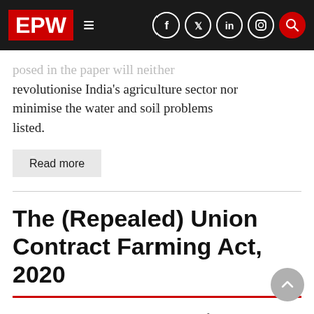EPW
posed in the paper will neither revolutionise India's agriculture sector nor minimise the water and soil problems listed.
Read more
The (Repealed) Union Contract Farming Act, 2020
The rationale and the implications of the now repealed Union Contract Farming Act of 2020 and its implications for farmers is the focus of this article. It highlights some